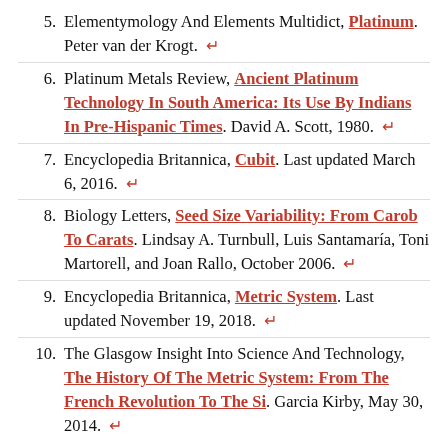5. Elementymology And Elements Multidict, Platinum. Peter van der Krogt. ↵
6. Platinum Metals Review, Ancient Platinum Technology In South America: Its Use By Indians In Pre-Hispanic Times. David A. Scott, 1980. ↵
7. Encyclopedia Britannica, Cubit. Last updated March 6, 2016. ↵
8. Biology Letters, Seed Size Variability: From Carob To Carats. Lindsay A. Turnbull, Luis Santamaría, Toni Martorell, and Joan Rallo, October 2006. ↵
9. Encyclopedia Britannica, Metric System. Last updated November 19, 2018. ↵
10. The Glasgow Insight Into Science And Technology, The History Of The Metric System: From The French Revolution To The Si. Garcia Kirby, May 30, 2014. ↵